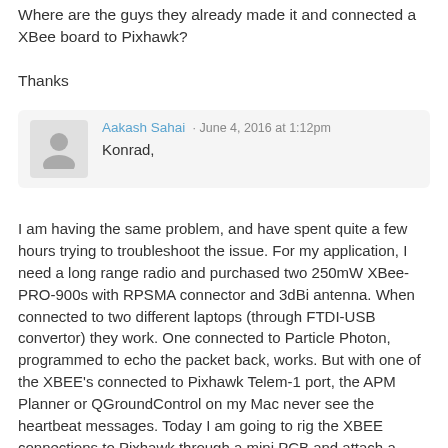Where are the guys they already made it and connected a XBee board to Pixhawk?
Thanks
Aakash Sahai · June 4, 2016 at 1:12pm
Konrad,
I am having the same problem, and have spent quite a few hours trying to troubleshoot the issue. For my application, I need a long range radio and purchased two 250mW XBee-PRO-900s with RPSMA connector and 3dBi antenna. When connected to two different laptops (through FTDI-USB convertor) they work. One connected to Particle Photon, programmed to echo the packet back, works. But with one of the XBEE's connected to Pixhawk Telem-1 port, the APM Planner or QGroundControl on my Mac never see the heartbeat messages. Today I am going to rig the XBEE connections to Pixhawk through a mini PCB and attach a logic analyzer to check for the activity on TX and RX lines from/to the Telem port. WIll let you know if I find anything, but if someone here has a clue, please post. Some articles suggest not connecting RTS/CTS pins on Pixhawk to XBEE, and that is how I am operating it (i.e. RTS/CTS flow control turned off on the Pixhawk Telem-1 port and RTS/CTS wires not connected).